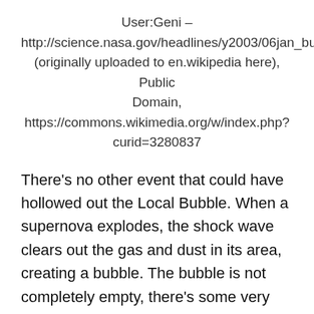User:Geni – http://science.nasa.gov/headlines/y2003/06jan_bubble.htm (originally uploaded to en.wikipedia here), Public Domain, https://commons.wikimedia.org/w/index.php?curid=3280837
There's no other event that could have hollowed out the Local Bubble. When a supernova explodes, the shock wave clears out the gas and dust in its area, creating a bubble. The bubble is not completely empty, there's some very hot and very low-density gas left in it. But most of the gas clouds are gone.
“We have the Local Bubble in the interstellar medium,” Melott said. “We’re right on its edge. It’s